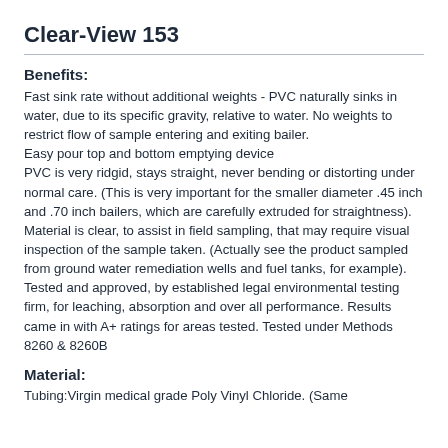Clear-View 153
Benefits:
Fast sink rate without additional weights - PVC naturally sinks in water, due to its specific gravity, relative to water. No weights to restrict flow of sample entering and exiting bailer.
Easy pour top and bottom emptying device
PVC is very ridgid, stays straight, never bending or distorting under normal care. (This is very important for the smaller diameter .45 inch and .70 inch bailers, which are carefully extruded for straightness).
Material is clear, to assist in field sampling, that may require visual inspection of the sample taken. (Actually see the product sampled from ground water remediation wells and fuel tanks, for example).
Tested and approved, by established legal environmental testing firm, for leaching, absorption and over all performance. Results came in with A+ ratings for areas tested. Tested under Methods 8260 & 8260B
Material:
Tubing:Virgin medical grade Poly Vinyl Chloride. (Same